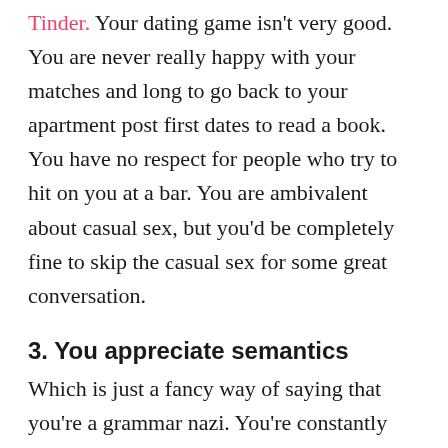Tinder. Your dating game isn't very good. You are never really happy with your matches and long to go back to your apartment post first dates to read a book. You have no respect for people who try to hit on you at a bar. You are ambivalent about casual sex, but you'd be completely fine to skip the casual sex for some great conversation.
3. You appreciate semantics
Which is just a fancy way of saying that you're a grammar nazi. You're constantly telling people the difference between there, their and they're, correcting their pronunciation of jalapeño, and telling them that stadia is the plural of stadium